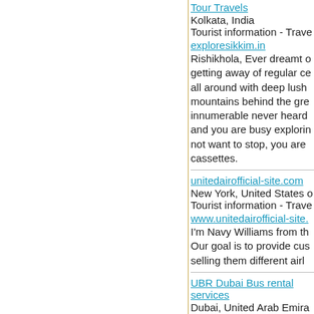Tour Travels
Kolkata, India
Tourist information - Trave
exploresikkim.in
Rishikhola, Ever dreamt of getting away of regular ce all around with deep lush mountains behind the gre innumerable never heard and you are busy explorin not want to stop, you are cassettes.
unitedairofficial-site.com
New York, United States o
Tourist information - Trave
www.unitedairofficial-site.
I'm Navy Williams from th Our goal is to provide cus selling them different airl
UBR Dubai Bus rental services
Dubai, United Arab Emira
Tourist information - Trave
www.ubrbusservice.com